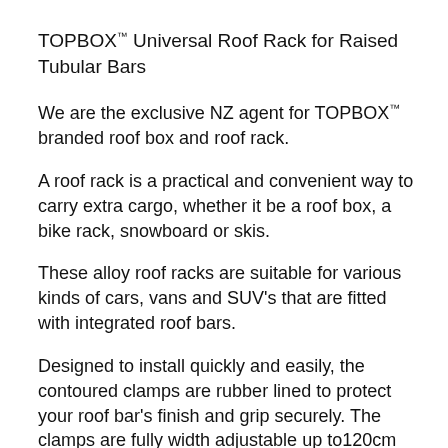TOPBOX™ Universal Roof Rack for Raised Tubular Bars
We are the exclusive NZ agent for TOPBOX™ branded roof box and roof rack.
A roof rack is a practical and convenient way to carry extra cargo, whether it be a roof box, a bike rack, snowboard or skis.
These alloy roof racks are suitable for various kinds of cars, vans and SUV's that are fitted with integrated roof bars.
Designed to install quickly and easily, the contoured clamps are rubber lined to protect your roof bar's finish and grip securely. The clamps are fully width adjustable up to120cm wide.
Specifications